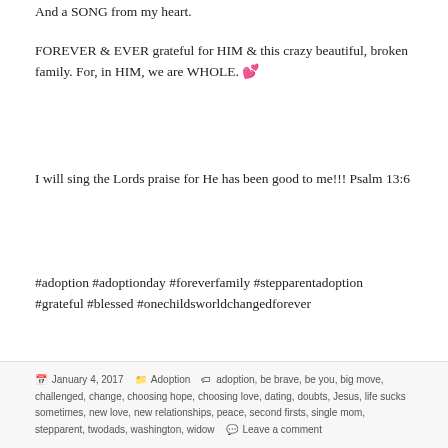And a SONG from my heart.
FOREVER & EVER grateful for HIM & this crazy beautiful, broken family. For, in HIM, we are WHOLE. 💕
I will sing the Lords praise for He has been good to me!!! Psalm 13:6
#adoption #adoptionday #foreverfamily #stepparentadoption #grateful #blessed #onechildsworldchangedforever
January 4, 2017  Adoption  adoption, be brave, be you, big move, challenged, change, choosing hope, choosing love, dating, doubts, Jesus, life sucks sometimes, new love, new relationships, peace, second firsts, single mom, stepparent, twodads, washington, widow  Leave a comment